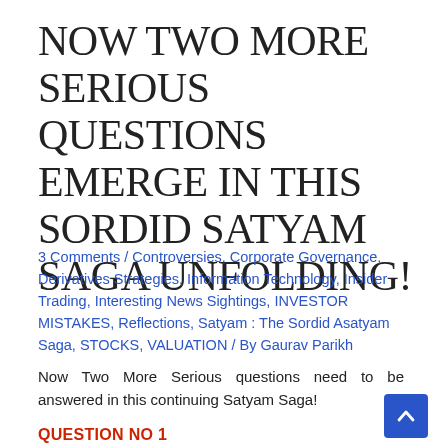NOW TWO MORE SERIOUS QUESTIONS EMERGE IN THIS SORDID SATYAM SAGA UNFOLDING!
3 Comments / Controversies, Corporate Governance, Derivatives Strategies, Information Technology, Insider Trading, Interesting News Sightings, INVESTOR MISTAKES, Reflections, Satyam : The Sordid Asatyam Saga, STOCKS, VALUATION / By Gaurav Parikh
Now Two More Serious questions need to be answered in this continuing Satyam Saga!
QUESTION NO 1